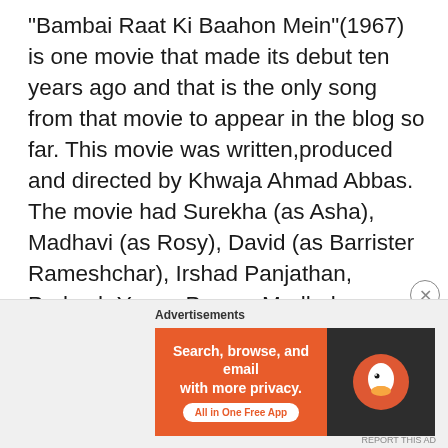“Bambai Raat Ki Baahon Mein”(1967) is one movie that made its debut ten years ago and that is the only song from that movie to appear in the blog so far. This movie was written,produced and directed by Khwaja Ahmad Abbas. The movie had Surekha (as Asha), Madhavi (as Rosy), David (as Barrister Rameshchar), Irshad Panjathan, Prakash,Yunus Parvez,Madhukar, Hangal,Samir Kumar, Kuljit Singh, Ravikant, Bhagwan Sinha, Qamar Amrohi, Pardesi, Bhola, Jagadish Kumar, Ghanshyam Rohera, Moti Bina, Sunil Kaushik, Surendra Kaushik, Nazir Kashmiri, Chandulal, Verinder Raj Anand,and Athar Siraj. The movie introduced Persis Khambata as Lily, Vimal Ahuja as Amar and Jalal Agha as
[Figure (infographic): DuckDuckGo advertisement banner with orange background. Left side shows text: Search, browse, and email with more privacy. All in One Free App. Right side shows DuckDuckGo logo on dark background.]